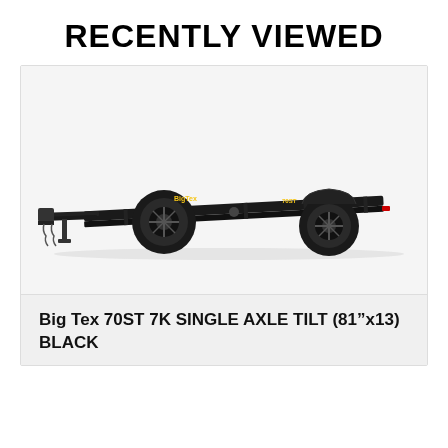RECENTLY VIEWED
[Figure (photo): Black Big Tex 70ST 7K single axle tilt trailer on white background, showing two wheels, tilt bed, and hitch with chains]
Big Tex 70ST 7K SINGLE AXLE TILT (81"x13) BLACK